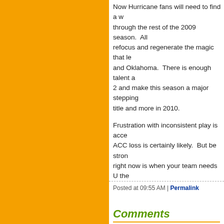Now Hurricane fans will need to find a way through the rest of the 2009 season. All refocus and regenerate the magic that led and Oklahoma. There is enough talent a 2 and make this season a major stepping title and more in 2010.
Frustration with inconsistent play is acce ACC loss is certainly likely. But be stron right now is when your team needs U the
Posted at 09:55 AM | Permalink
Comments
[Figure (illustration): Orange and white geometric/abstract avatar image for user Caneslegend]
I don't care if fans don't want
Posted by: Caneslegend | October
[Figure (illustration): Green radial/geometric avatar image for second commenter]
Swamp Donkey...

Dead serious.
You seem to have slot of insi